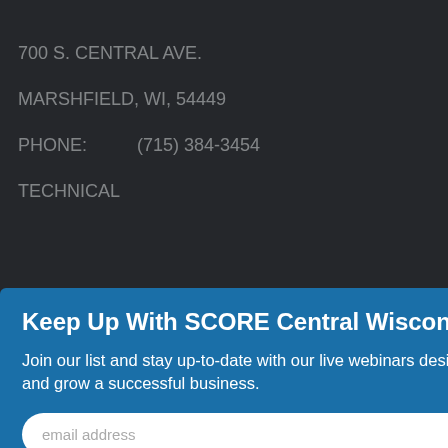700 S. CENTRAL AVE.
MARSHFIELD, WI, 54449
PHONE:          (715) 384-3454
TECHNICAL
[Figure (screenshot): Popup modal overlay on a website page with dark background showing address info]
Keep Up With SCORE Central Wisconsin
Join our list and stay up-to-date with our live webinars designed to help you start and grow a successful business.
email address
SUBMIT
Browse Mentor Profiles
Request a Mentor
Find a Location